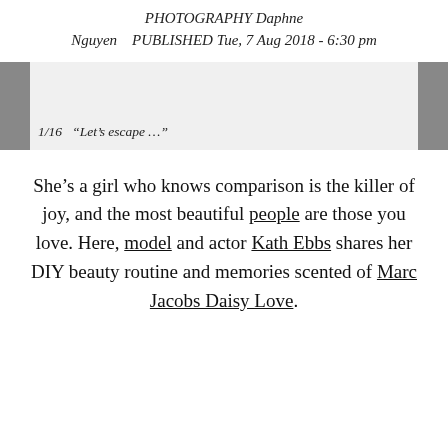PHOTOGRAPHY Daphne Nguyen   PUBLISHED Tue, 7 Aug 2018 - 6:30 pm
1/16  “Let’s escape …”
She’s a girl who knows comparison is the killer of joy, and the most beautiful people are those you love. Here, model and actor Kath Ebbs shares her DIY beauty routine and memories scented of Marc Jacobs Daisy Love.